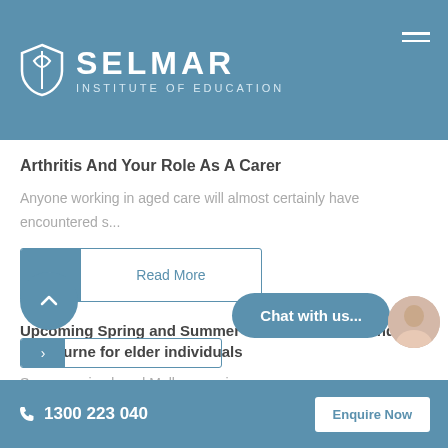[Figure (logo): Selmar Institute of Education logo with shield icon and text header]
Arthritis And Your Role As A Carer
Anyone working in aged care will almost certainly have encountered s...
Read More
Upcoming Spring and Summer events in and around Melbourne for elder individuals
S... as arrived, and Melbourn... s in a... he city to...
1300 223 040  Enquire Now